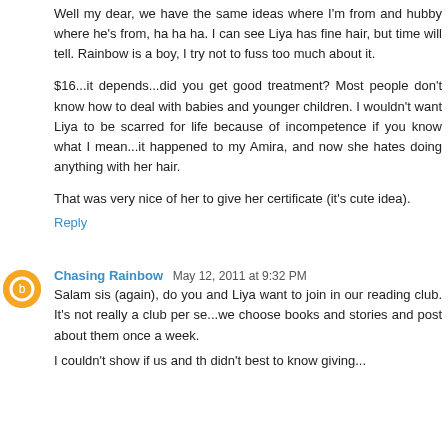Well my dear, we have the same ideas where I'm from and hubby where he's from, ha ha ha. I can see Liya has fine hair, but time will tell. Rainbow is a boy, I try not to fuss too much about it.
$16...it depends...did you get good treatment? Most people don't know how to deal with babies and younger children. I wouldn't want Liya to be scarred for life because of incompetence if you know what I mean...it happened to my Amira, and now she hates doing anything with her hair.
That was very nice of her to give her certificate (it's cute idea).
Reply
Chasing Rainbow May 12, 2011 at 9:32 PM
Salam sis (again), do you and Liya want to join in our reading club. It's not really a club per se...we choose books and stories and post about them once a week.
I couldn't show if us and the didn't best to know giving...